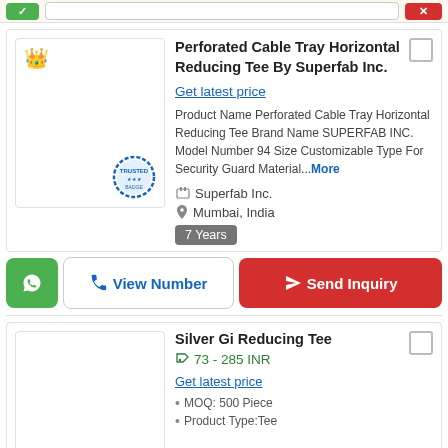Perforated Cable Tray Horizontal Reducing Tee By Superfab Inc.
Get latest price
Product Name Perforated Cable Tray Horizontal Reducing Tee Brand Name SUPERFAB INC. Model Number 94 Size Customizable Type For Security Guard Material...More
Superfab Inc.
Mumbai, India
7 Years
Silver Gi Reducing Tee
73 - 285 INR
Get latest price
MOQ: 500 Piece
Product Type:Tee